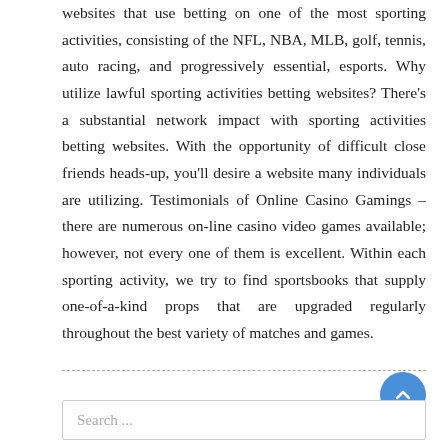websites that use betting on one of the most sporting activities, consisting of the NFL, NBA, MLB, golf, tennis, auto racing, and progressively essential, esports. Why utilize lawful sporting activities betting websites? There's a substantial network impact with sporting activities betting websites. With the opportunity of difficult close friends heads-up, you'll desire a website many individuals are utilizing. Testimonials of Online Casino Gamings – there are numerous on-line casino video games available; however, not every one of them is excellent. Within each sporting activity, we try to find sportsbooks that supply one-of-a-kind props that are upgraded regularly throughout the best variety of matches and games.
Search ...